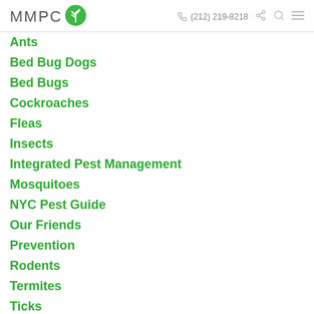MMPC (212) 219-8218
Ants
Bed Bug Dogs
Bed Bugs
Cockroaches
Fleas
Insects
Integrated Pest Management
Mosquitoes
NYC Pest Guide
Our Friends
Prevention
Rodents
Termites
Ticks
Tips